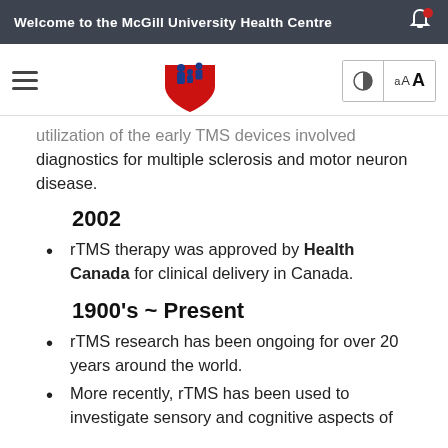Welcome to the McGill University Health Centre
utilization of the early TMS devices involved diagnostics for multiple sclerosis and motor neuron disease.
2002
rTMS therapy was approved by Health Canada for clinical delivery in Canada.
1900's ~ Present
rTMS research has been ongoing for over 20 years around the world.
More recently, rTMS has been used to investigate sensory and cognitive aspects of